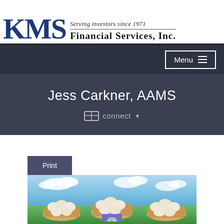KMS Financial Services, Inc. — Serving investors since 1971
Jess Carkner, AAMS
connect ▾
Print
[Figure (photo): Photo of three baskets filled with eggs on green grass under a blue sky, with a label on one basket reading 'FIXED INCOME', representing diversification of investments.]